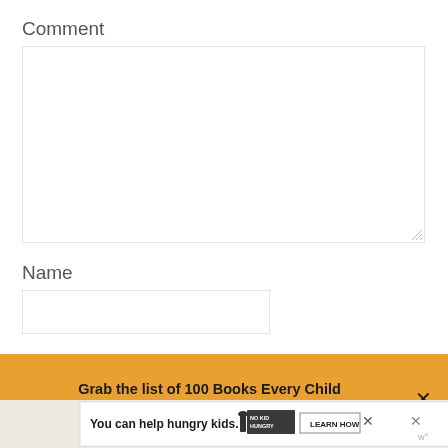Comment
[Figure (screenshot): Empty comment text area input box with resize handle]
Name
[Figure (screenshot): Empty name text input box]
Grab the list of 100 Books Every Child Should Hear Before Kindergarten.
[Figure (screenshot): Advertisement bar: You can help hungry kids. No Kid Hungry logo. LEARN HOW button. Close X button.]